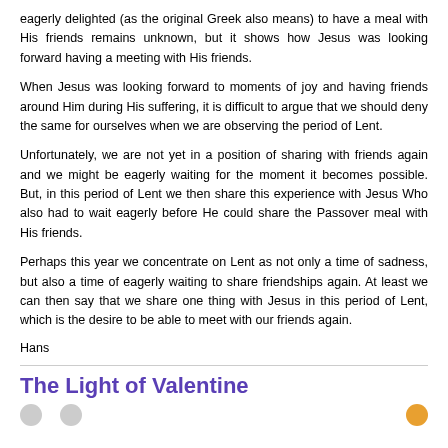eagerly delighted (as the original Greek also means) to have a meal with His friends remains unknown, but it shows how Jesus was looking forward having a meeting with His friends.
When Jesus was looking forward to moments of joy and having friends around Him during His suffering, it is difficult to argue that we should deny the same for ourselves when we are observing the period of Lent.
Unfortunately, we are not yet in a position of sharing with friends again and we might be eagerly waiting for the moment it becomes possible. But, in this period of Lent we then share this experience with Jesus Who also had to wait eagerly before He could share the Passover meal with His friends.
Perhaps this year we concentrate on Lent as not only a time of sadness, but also a time of eagerly waiting to share friendships again. At least we can then say that we share one thing with Jesus in this period of Lent, which is the desire to be able to meet with our friends again.
Hans
The Light of Valentine